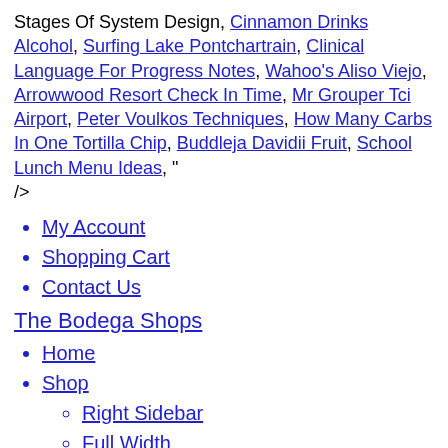Stages Of System Design, Cinnamon Drinks Alcohol, Surfing Lake Pontchartrain, Clinical Language For Progress Notes, Wahoo's Aliso Viejo, Arrowwood Resort Check In Time, Mr Grouper Tci Airport, Peter Voulkos Techniques, How Many Carbs In One Tortilla Chip, Buddleja Davidii Fruit, School Lunch Menu Ideas, " />
My Account
Shopping Cart
Contact Us
The Bodega Shops
Home
Shop
Right Sidebar
Full Width
Simple Product
Variable Product
Grouped Product
External Product
Women
Dresses
Jackets
Tops